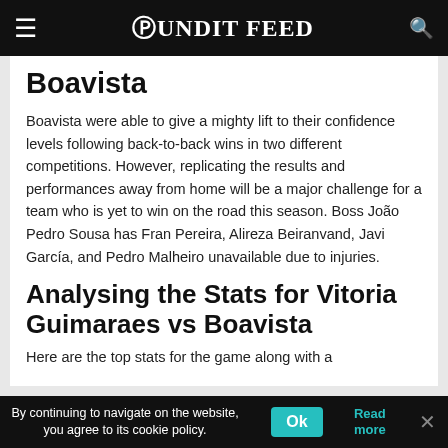Pundit Feed
Boavista
Boavista were able to give a mighty lift to their confidence levels following back-to-back wins in two different competitions. However, replicating the results and performances away from home will be a major challenge for a team who is yet to win on the road this season. Boss João Pedro Sousa has Fran Pereira, Alireza Beiranvand, Javi García, and Pedro Malheiro unavailable due to injuries.
Analysing the Stats for Vitoria Guimaraes vs Boavista
Here are the top stats for the game along with a
By continuing to navigate on the website, you agree to its cookie policy. Ok Read more ×